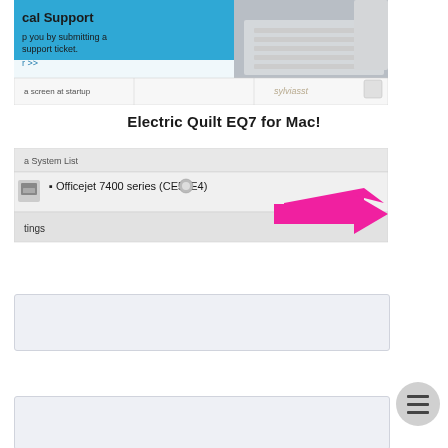[Figure (screenshot): Partial screenshot of a website showing 'cal Support', 'p you by submitting a support ticket.', 'r >>' text over a blue background with a keyboard/iMac photo on the right, and below that a URL bar area with 'a screen at startup' text and 'sylviasst' watermark.]
Electric Quilt EQ7 for Mac!
[Figure (screenshot): Partial screenshot showing a Mac OS X printer list item: 'Officejet 7400 series (CE59E4)' with a printer icon, and below 'tings' text visible. A large magenta/pink arrow points to the right.]
[Figure (screenshot): Light blue/gray rectangular area (partially visible screenshot placeholder).]
[Figure (screenshot): Light blue/gray rectangular area (partially visible screenshot placeholder at bottom of page).]